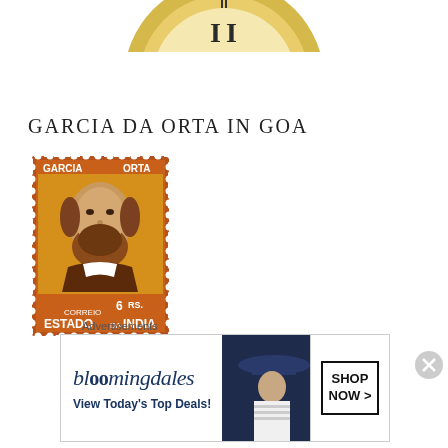[Figure (illustration): Partial view of a circular emblem or seal at the top of the page, showing decorative elements and the numeral II]
GARCIA DA ORTA IN GOA
[Figure (illustration): Portuguese postage stamp depicting Garcia da Orta portrait, a bearded man. Text on stamp: GARCIA, ORTA, 6 RS., CORREIO, ESTADO da INDIA. Stamp has brown/orange tones with perforated edges.]
Advertisements
[Figure (other): Bloomingdale's advertisement banner. Text reads: bloomingdales, View Today's Top Deals! with SHOP NOW > button on the right. Features an image of a woman in a wide-brimmed blue hat.]